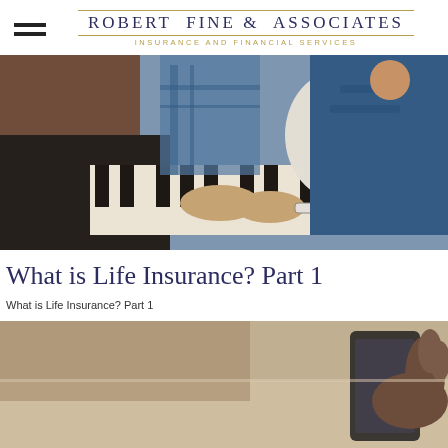Robert Fine & Associates Insurance and Financial Services
[Figure (photo): Elderly man and young child playing piano together, close-up of hands on piano keys]
What is Life Insurance? Part 1
What is Life Insurance? Part 1
[Figure (photo): Close-up of hands holding a smartphone or tablet on a desk]